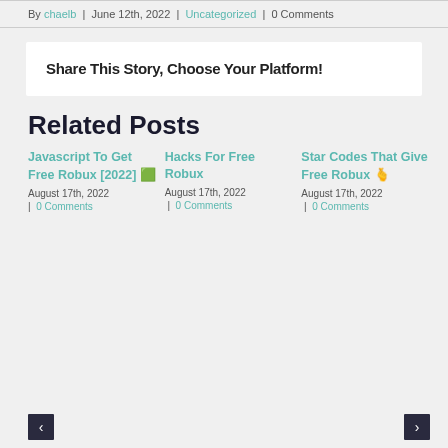By chaelb | June 12th, 2022 | Uncategorized | 0 Comments
Share This Story, Choose Your Platform!
Related Posts
Javascript To Get Free Robux [2022] 🟩 August 17th, 2022 | 0 Comments
Hacks For Free Robux August 17th, 2022 | 0 Comments
Star Codes That Give Free Robux 🫰 August 17th, 2022 | 0 Comments